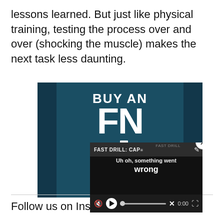lessons learned. But just like physical training, testing the process over and over (shocking the muscle) makes the next task less daunting.
[Figure (photo): Advertisement image for 'BUY AN FN 509' firearm on a dark teal background with left and right dark side bars. A video error overlay popup 'Uh oh, something went wrong' with video controls is shown in the bottom-right corner, along with a close button (x).]
Follow us on Instagram, @...